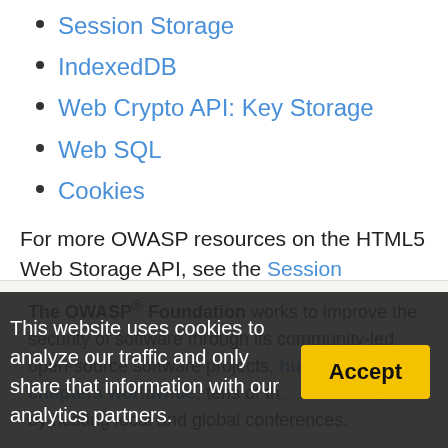Session Storage
IndexedDB
Web Crypto API: Key Storage
Web SQL
Cookies
For more OWASP resources on the HTML5 Web Storage API, see the Session Management Cheat Sheet.
The OWASP® Foundation works to improve the security of software through its community-led open-source software projects, hundreds of chapters worldwide, tens of thousands of members, and by hosting local and global conferences.
This website uses cookies to analyze our traffic and only share that information with our analytics partners.